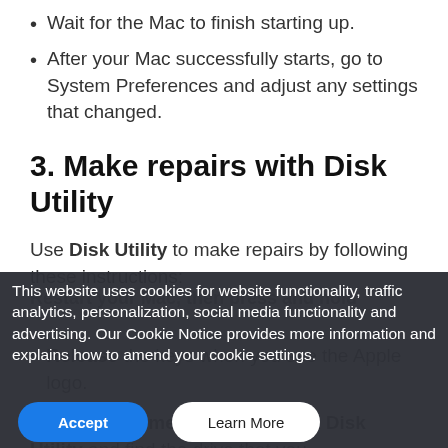Wait for the Mac to finish starting up.
After your Mac successfully starts, go to System Preferences and adjust any settings that changed.
3. Make repairs with Disk Utility
Use Disk Utility to make repairs by following these instructions:
Restart your Mac, then press and hold [partially visible]
Release the keys when you see the Apple logo.
When the menu appears, click Disk Utility and find the drive that you
This website uses cookies for website functionality, traffic analytics, personalization, social media functionality and advertising. Our Cookie Notice provides more information and explains how to amend your cookie settings.